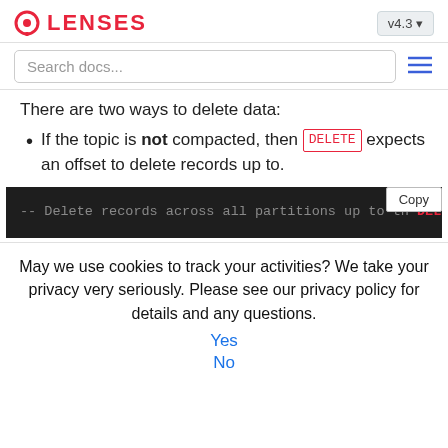LENSES v4.3
Search docs...
There are two ways to delete data:
If the topic is not compacted, then DELETE expects an offset to delete records up to.
[Figure (screenshot): Dark-background code block showing SQL: -- Delete records across all partitions up to th
DELETE FROM customer
WHERE _meta.offset <= 10;]
May we use cookies to track your activities? We take your privacy very seriously. Please see our privacy policy for details and any questions.
Yes
No